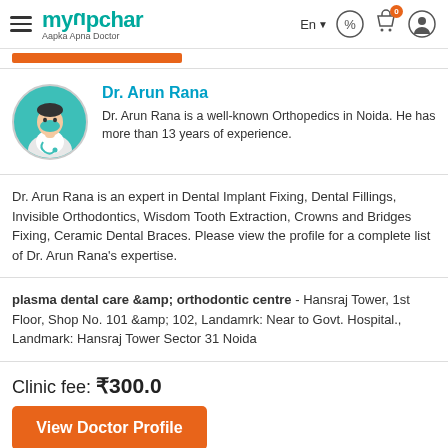myupchar - Aapka Apna Doctor | En | navigation icons
[Figure (screenshot): Orange bar/button partially visible at top]
[Figure (photo): Doctor avatar: cartoon illustration of a male doctor wearing white coat and teal mask, circular teal background]
Dr. Arun Rana
Dr. Arun Rana is a well-known Orthopedics in Noida. He has more than 13 years of experience.
Dr. Arun Rana is an expert in Dental Implant Fixing, Dental Fillings, Invisible Orthodontics, Wisdom Tooth Extraction, Crowns and Bridges Fixing, Ceramic Dental Braces. Please view the profile for a complete list of Dr. Arun Rana's expertise.
plasma dental care &amp; orthodontic centre - Hansraj Tower, 1st Floor, Shop No. 101 &amp; 102, Landamrk: Near to Govt. Hospital., Landmark: Hansraj Tower Sector 31 Noida
Clinic fee: ₹300.0
View Doctor Profile